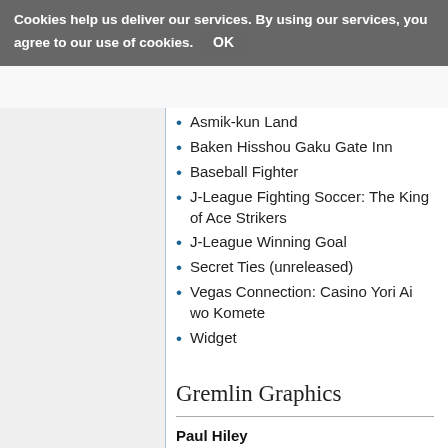Cookies help us deliver our services. By using our services, you agree to our use of cookies. OK
Asmik-kun Land
Baken Hisshou Gaku Gate Inn
Baseball Fighter
J-League Fighting Soccer: The King of Ace Strikers
J-League Winning Goal
Secret Ties (unreleased)
Vegas Connection: Casino Yori Ai wo Komete
Widget
Gremlin Graphics
Paul Hiley
Nigel Mansell's World Championship Racing